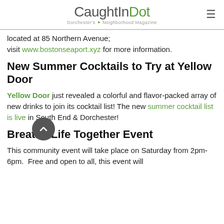CaughtInDot — Dorchester's Neighborhood Magazine
located at 85 Northern Avenue; visit www.bostonseaport.xyz for more information.
New Summer Cocktails to Try at Yellow Door
Yellow Door just revealed a colorful and flavor-packed array of new drinks to join its cocktail list! The new summer cocktail list is live in South End & Dorchester!
Breathe Life Together Event
This community event will take place on Saturday from 2pm-6pm.  Free and open to all, this event will